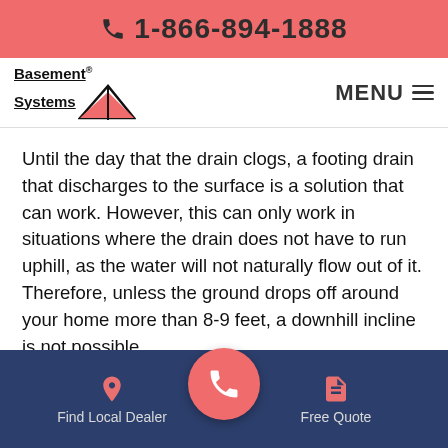1-866-894-1888
[Figure (logo): Basement Systems logo with arrow graphic and MENU button]
Until the day that the drain clogs, a footing drain that discharges to the surface is a solution that can work. However, this can only work in situations where the drain does not have to run uphill, as the water will not naturally flow out of it. Therefore, unless the ground drops off around your home more than 8-9 feet, a downhill incline is not possible.
If you have a sump pump installed, you can actively pump the water out of your house. This reduces the
Find Local Dealer    Free Quote